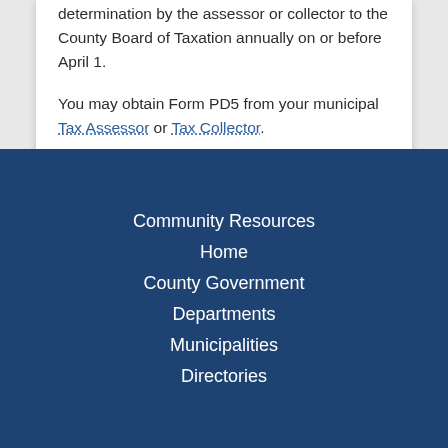determination by the assessor or collector to the County Board of Taxation annually on or before April 1.
You may obtain Form PD5 from your municipal Tax Assessor or Tax Collector.
Community Resources
Home
County Government
Departments
Municipalities
Directories